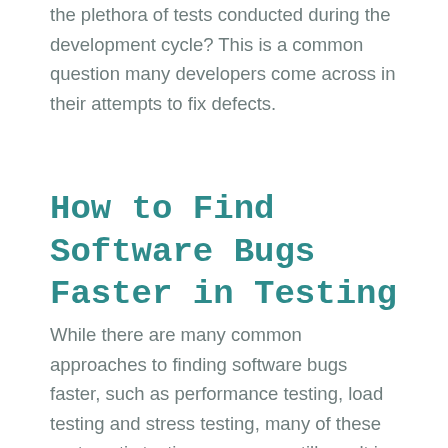the plethora of tests conducted during the development cycle? This is a common question many developers come across in their attempts to fix defects.
How to Find Software Bugs Faster in Testing
While there are many common approaches to finding software bugs faster, such as performance testing, load testing and stress testing, many of these systematic testing processes still result in unaccounted for errors.